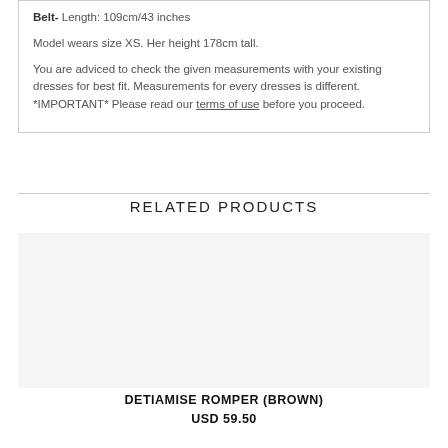Belt- Length: 109cm/43 inches
Model wears size XS. Her height 178cm tall.
You are adviced to check the given measurements with your existing dresses for best fit. Measurements for every dresses is different. *IMPORTANT* Please read our terms of use before you proceed.
RELATED PRODUCTS
[Figure (photo): Product image area for Detiamise Romper (Brown)]
DETIAMISE ROMPER (BROWN)
USD 59.50